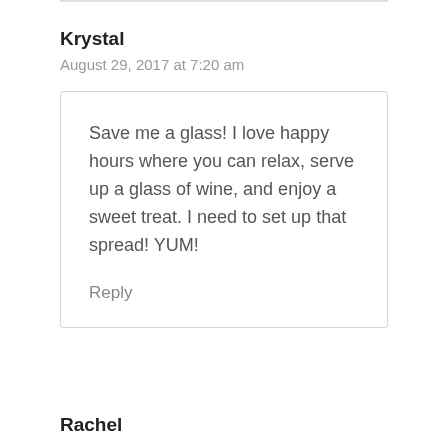Krystal
August 29, 2017 at 7:20 am
Save me a glass! I love happy hours where you can relax, serve up a glass of wine, and enjoy a sweet treat. I need to set up that spread! YUM!
Reply
Rachel